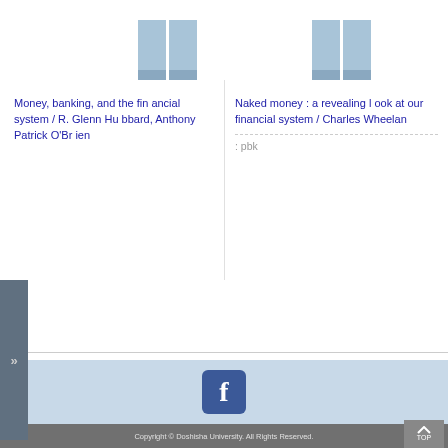[Figure (illustration): Two book cover icons in light blue, side by side, left column]
[Figure (illustration): Two book cover icons in light blue, side by side, right column]
Money, banking, and the financial system / R. Glenn Hubbard, Anthony Patrick O'Brien
Naked money : a revealing look at our financial system / Charles Wheelan
: pbk
[Figure (logo): Facebook logo icon, blue square with white f]
Copyright © Doshisha University. All Rights Reserved.